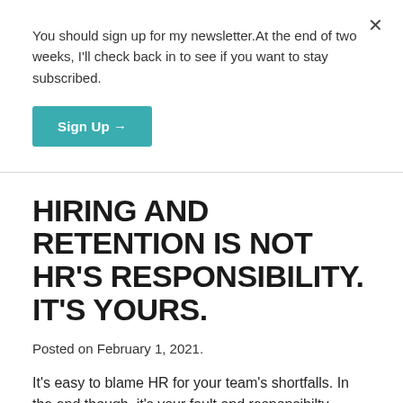You should sign up for my newsletter.At the end of two weeks, I'll check back in to see if you want to stay subscribed.
[Figure (other): Sign Up button with arrow, teal background]
HIRING AND RETENTION IS NOT HR'S RESPONSIBILITY. IT'S YOURS.
Posted on February 1, 2021.
It's easy to blame HR for your team's shortfalls. In the end though, it's your fault and responsibilty.